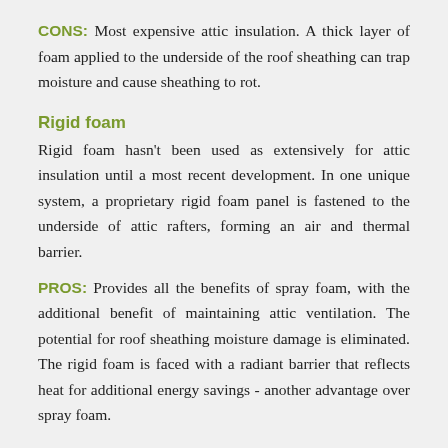CONS: Most expensive attic insulation. A thick layer of foam applied to the underside of the roof sheathing can trap moisture and cause sheathing to rot.
Rigid foam
Rigid foam hasn't been used as extensively for attic insulation until a most recent development. In one unique system, a proprietary rigid foam panel is fastened to the underside of attic rafters, forming an air and thermal barrier.
PROS: Provides all the benefits of spray foam, with the additional benefit of maintaining attic ventilation. The potential for roof sheathing moisture damage is eliminated. The rigid foam is faced with a radiant barrier that reflects heat for additional energy savings - another advantage over spray foam.